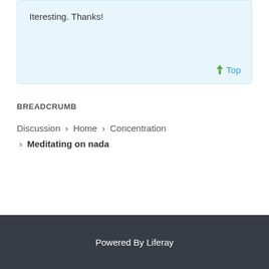Iteresting. Thanks!
BREADCRUMB
Discussion › Home › Concentration › Meditating on nada
Powered By Liferay